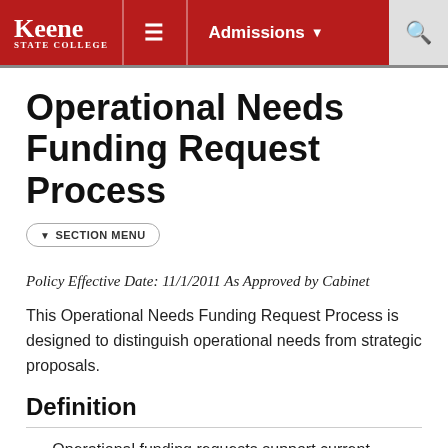Keene State College — Admissions
Operational Needs Funding Request Process
▾ SECTION MENU
Policy Effective Date: 11/1/2011 As Approved by Cabinet
This Operational Needs Funding Request Process is designed to distinguish operational needs from strategic proposals.
Definition
Operational funding requests support current activities. Such needs are usually triggered by an unusual event. Examples include rate increases in a